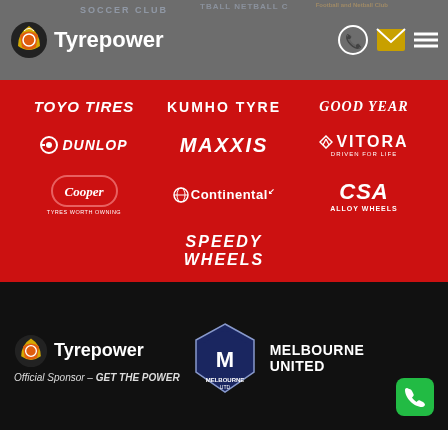[Figure (logo): Tyrepower logo and header bar with soccer club watermarks and contact icons]
[Figure (infographic): Red background panel showing 9 tire and wheel brand logos: Toyo Tires, Kumho Tyre, Goodyear, Dunlop, Maxxis, Vitora, Cooper, Continental, CSA Alloy Wheels, Speedy Wheels]
[Figure (logo): Footer bar with Tyrepower logo, Official Sponsor - GET THE POWER text, Melbourne United logo, MELBOURNE UNITED text, and green phone button]